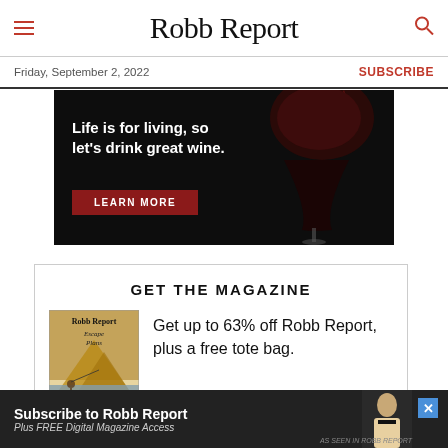Robb Report
Friday, September 2, 2022
SUBSCRIBE
[Figure (photo): Wine advertisement banner with dark background showing a wine glass being filled, with text 'Life is for living, so let's drink great wine.' and a LEARN MORE button]
GET THE MAGAZINE
[Figure (illustration): Robb Report magazine cover showing 'Escape Plans' issue with a scenic mountain lake illustration]
Get up to 63% off Robb Report, plus a free tote bag.
[Figure (photo): Bottom advertisement banner: Subscribe to Robb Report - Plus FREE Digital Magazine Access, with photo of a man in a suit]